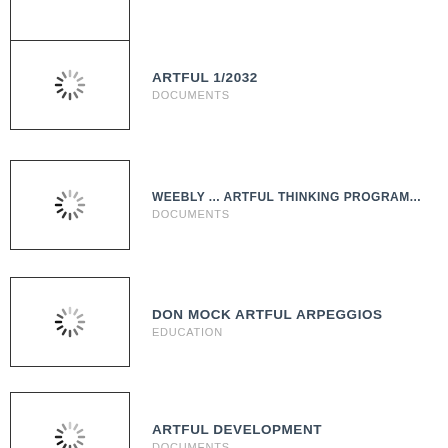ARTFUL 1/2032
DOCUMENTS
WEEBLY ... ARTFUL THINKING PROGRAM...
DOCUMENTS
DON MOCK ARTFUL ARPEGGIOS
EDUCATION
ARTFUL DEVELOPMENT
DOCUMENTS
ARTFUL PHYSICS
DOCUMENTS